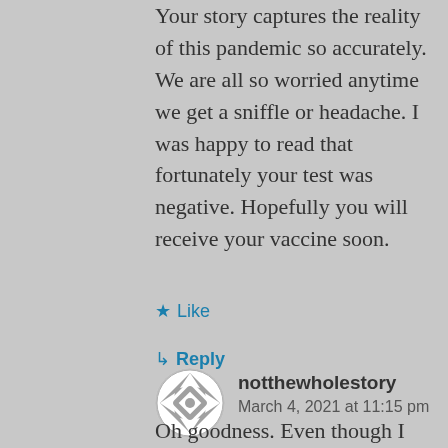Your story captures the reality of this pandemic so accurately. We are all so worried anytime we get a sniffle or headache. I was happy to read that fortunately your test was negative. Hopefully you will receive your vaccine soon.
★ Like
↳ Reply
[Figure (illustration): Avatar icon for user notthewholestory — circular avatar with a geometric white pattern on gray background]
notthewholestory
March 4, 2021 at 11:15 pm
Oh goodness. Even though I know it has